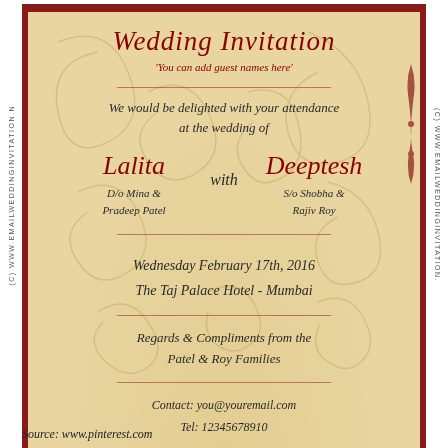(C) WWW.EMAILWEDDINGINVITATION.NET
Wedding Invitation
'You can add guest names here'
We would be delighted with your attendance at the wedding of
Lalita  with  Deeptesh
D/o Mina & Pradeep Patel
S/o Shobha & Rajiv Roy
Wednesday February 17th, 2016
The Taj Palace Hotel - Mumbai
Regards & Compliments from the Patel & Roy Families
Contact: you@youremail.com
Tel: 12345678910
C©WWW.EMAILWEDDINGINVITATION.NET Not For Distribution
Source: www.pinterest.com